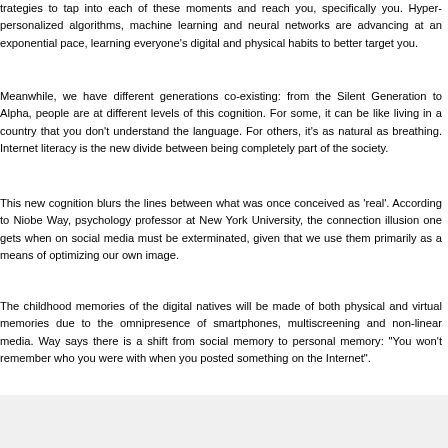strategies to tap into each of these moments and reach you, specifically you. Hyper-personalized algorithms, machine learning and neural networks are advancing at an exponential pace, learning everyone's digital and physical habits to better target you.
Meanwhile, we have different generations co-existing: from the Silent Generation to Alpha, people are at different levels of this cognition. For some, it can be like living in a country that you don't understand the language. For others, it's as natural as breathing. Internet literacy is the new divide between being completely part of the society.
This new cognition blurs the lines between what was once conceived as 'real'. According to Niobe Way, psychology professor at New York University, the connection illusion one gets when on social media must be exterminated, given that we use them primarily as a means of optimizing our own image.
The childhood memories of the digital natives will be made of both physical and virtual memories due to the omnipresence of smartphones, multiscreening and non-linear media. Way says there is a shift from social memory to personal memory: "You won't remember who you were with when you posted something on the Internet".